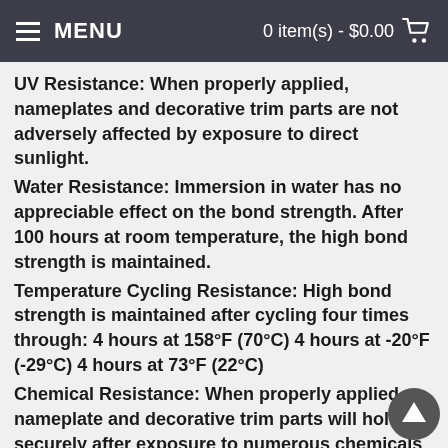MENU | 0 item(s) - $0.00
UV Resistance: When properly applied, nameplates and decorative trim parts are not adversely affected by exposure to direct sunlight.
Water Resistance: Immersion in water has no appreciable effect on the bond strength. After 100 hours at room temperature, the high bond strength is maintained.
Temperature Cycling Resistance: High bond strength is maintained after cycling four times through: 4 hours at 158°F (70°C) 4 hours at -20°F (-29°C) 4 hours at 73°F (22°C)
Chemical Resistance: When properly applied, nameplate and decorative trim parts will hold securely after exposure to numerous chemicals including oil, mild acids and alkalis.